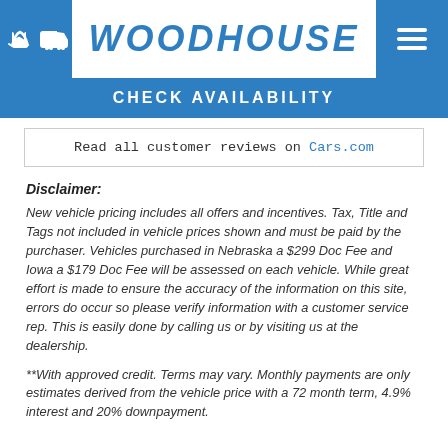WOODHOUSE
CHECK AVAILABILITY
Read all customer reviews on Cars.com
Disclaimer:
New vehicle pricing includes all offers and incentives. Tax, Title and Tags not included in vehicle prices shown and must be paid by the purchaser. Vehicles purchased in Nebraska a $299 Doc Fee and Iowa a $179 Doc Fee will be assessed on each vehicle. While great effort is made to ensure the accuracy of the information on this site, errors do occur so please verify information with a customer service rep. This is easily done by calling us or by visiting us at the dealership.
**With approved credit. Terms may vary. Monthly payments are only estimates derived from the vehicle price with a 72 month term, 4.9% interest and 20% downpayment.